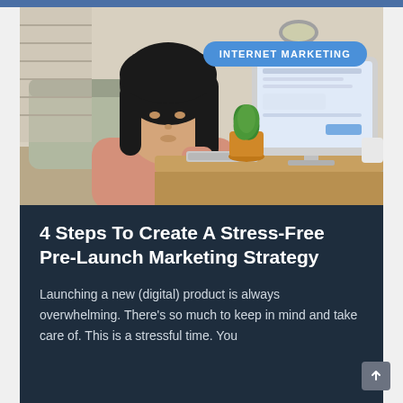[Figure (photo): Woman with dark hair sitting at a desk, looking at a desktop computer monitor. There is a small green potted plant, a lamp, keyboard, and a white mug on the desk. A blue badge labeled 'INTERNET MARKETING' is overlaid in the top-right corner of the image.]
4 Steps To Create A Stress-Free Pre-Launch Marketing Strategy
Launching a new (digital) product is always overwhelming. There's so much to keep in mind and take care of. This is a stressful time. You